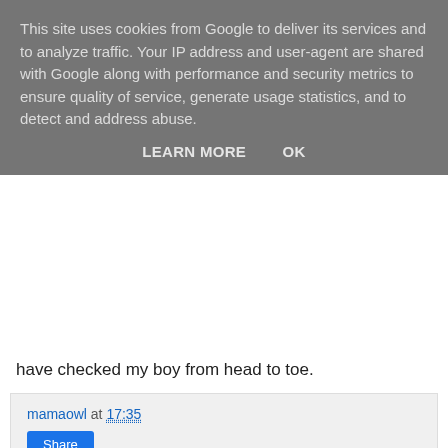This site uses cookies from Google to deliver its services and to analyze traffic. Your IP address and user-agent are shared with Google along with performance and security metrics to ensure quality of service, generate usage statistics, and to detect and address abuse.
LEARN MORE   OK
have checked my boy from head to toe.
mamaowl at 17:35
Share
2 comments:
Anonymous  6 August 2011 at 20:26
Aww Julie :( i heard toe walking was a big sign and very common. Bless him i hope you get your answers! xx
Reply